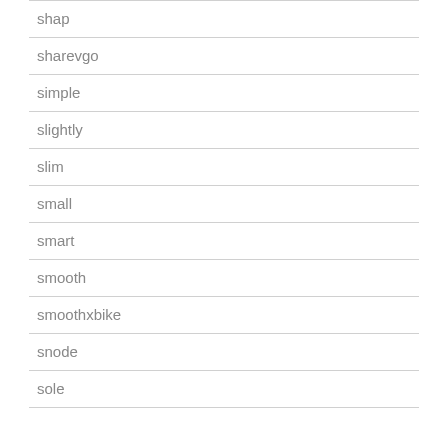shap
sharevgo
simple
slightly
slim
small
smart
smooth
smoothxbike
snode
sole